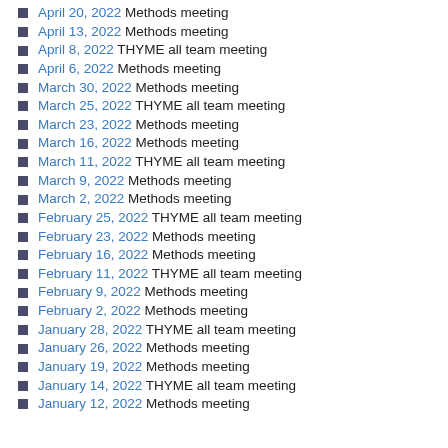April 20, 2022 Methods meeting
April 13, 2022 Methods meeting
April 8, 2022 THYME all team meeting
April 6, 2022 Methods meeting
March 30, 2022 Methods meeting
March 25, 2022 THYME all team meeting
March 23, 2022 Methods meeting
March 16, 2022 Methods meeting
March 11, 2022 THYME all team meeting
March 9, 2022 Methods meeting
March 2, 2022 Methods meeting
February 25, 2022 THYME all team meeting
February 23, 2022 Methods meeting
February 16, 2022 Methods meeting
February 11, 2022 THYME all team meeting
February 9, 2022 Methods meeting
February 2, 2022 Methods meeting
January 28, 2022 THYME all team meeting
January 26, 2022 Methods meeting
January 19, 2022 Methods meeting
January 14, 2022 THYME all team meeting
January 12, 2022 Methods meeting